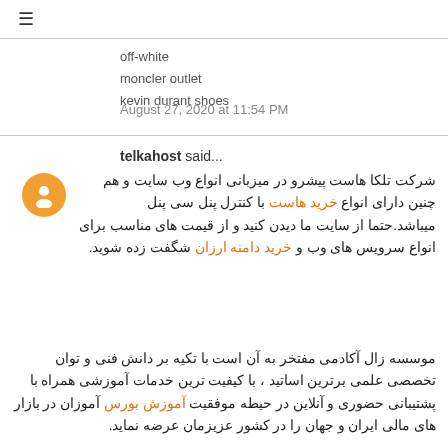≡
off-white
moncler outlet
kevin durant shoes
August 27, 2020 at 11:54 PM
telkahost said...
شرکت تلکا هاست پیشرو در میزبانی انواع وب سایت و هم چنین دارای انواع خرید هاست با کنترل پنل سی پنل میباشد.حتما از سایت ما دیدن کنید و از قیمت های مناسب برای انواع سرویس های وب و خرید دامنه ارزان شگفت زده شوید.
موسسه زال آکادمی مفتخر به آن است با تکیه بر دانش فنی و توان تخصصی علمی برترین اساتید ، با کیفیت ترین خدمات آموزشی همراه با پشتیبانی حضوری و آنلاین در حیطه موفقیت آموزش بورس آموزان در بازار های مالی ایران و جهان را در کشور عزیزمان عرضه نماید.